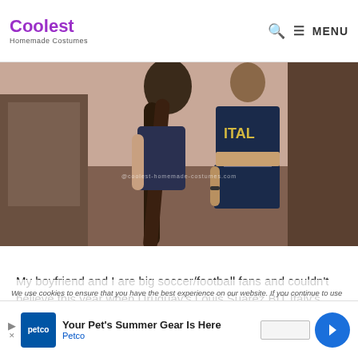Coolest Homemade Costumes | MENU
[Figure (photo): Two people posing; one wearing an Italy soccer jersey and dark shorts, with a watermark reading @coolest-homemade-costumes.com]
My boyfriend and I are big soccer/football fans and couldn't believe this year when Uruguay's Louis Suarez BIT Italy's ... bite ... ned into memes, YouTube videos and dubbed Suarez as a vampire! It wasn't his first bite
We use cookies to ensure that you have the best experience on our website. If you continue to use this site we will assume that you
[Figure (infographic): Petco advertisement banner: 'Your Pet's Summer Gear Is Here' with Petco logo and a blue directional arrow icon]